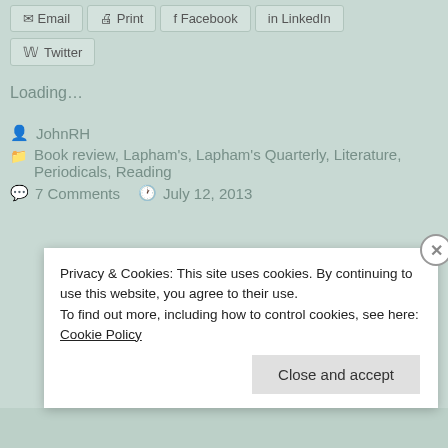Email  Print  Facebook  LinkedIn
Twitter
Loading...
JohnRH
Book review, Lapham's, Lapham's Quarterly, Literature, Periodicals, Reading
7 Comments    July 12, 2013
Privacy & Cookies: This site uses cookies. By continuing to use this website, you agree to their use.
To find out more, including how to control cookies, see here: Cookie Policy
Close and accept